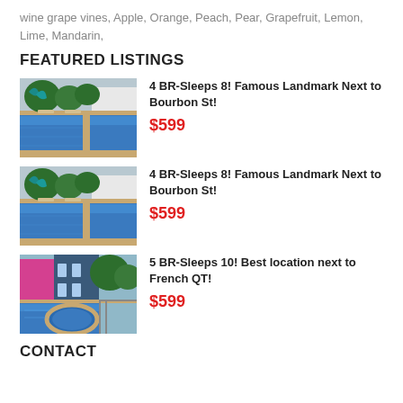wine grape vines, Apple, Orange, Peach, Pear, Grapefruit, Lemon, Lime, Mandarin,
FEATURED LISTINGS
[Figure (photo): Outdoor swimming pool with blue water, lounge chairs and trees in background]
4 BR-Sleeps 8! Famous Landmark Next to Bourbon St!
$599
[Figure (photo): Outdoor swimming pool with blue water, lounge chairs and trees in background]
4 BR-Sleeps 8! Famous Landmark Next to Bourbon St!
$599
[Figure (photo): Outdoor swimming pool area with hot tub, colorful building in background]
5 BR-Sleeps 10! Best location next to French QT!
$599
CONTACT